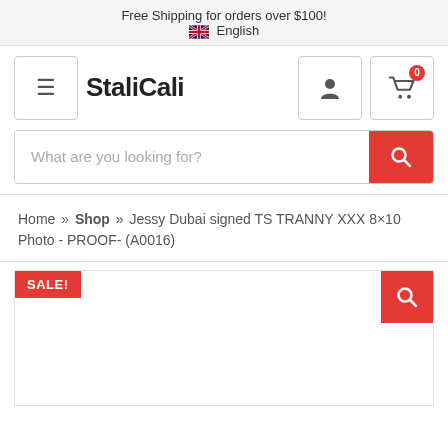Free Shipping for orders over $100!
🇬🇧 English
StaliCali
What are you looking for?
Home » Shop » Jessy Dubai signed TS TRANNY XXX 8×10 Photo - PROOF- (A0016)
[Figure (screenshot): Product image area with SALE! badge in red top-left and zoom icon top-right, product image not loaded]